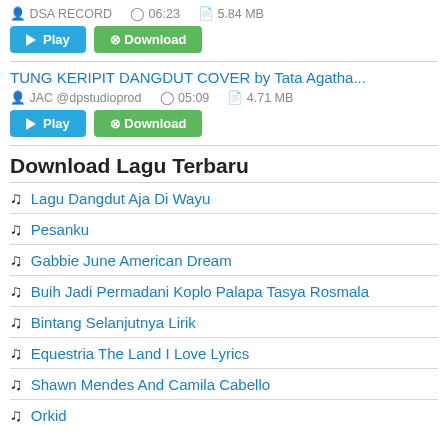DSA RECORD  06:23  5.84 MB
Play  Download
TUNG KERIPIT DANGDUT COVER by Tata Agatha...
JAC @dpstudioprod  05:09  4.71 MB
Play  Download
Download Lagu Terbaru
Lagu Dangdut Aja Di Wayu
Pesanku
Gabbie June American Dream
Buih Jadi Permadani Koplo Palapa Tasya Rosmala
Bintang Selanjutnya Lirik
Equestria The Land I Love Lyrics
Shawn Mendes And Camila Cabello
Orkid